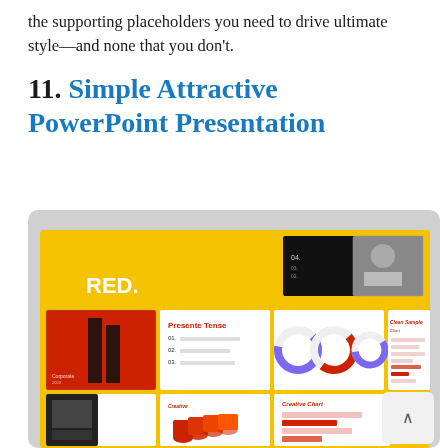the supporting placeholders you need to drive ultimate style—and none that you don't.
11. Simple Attractive PowerPoint Presentation
[Figure (screenshot): Screenshot of a PowerPoint presentation template called 'RED.' showing a collage of multiple slide layouts featuring yellow, red, black and white color scheme with various slide designs including charts, donut charts, photo layouts, and text slides arranged in a grid view.]